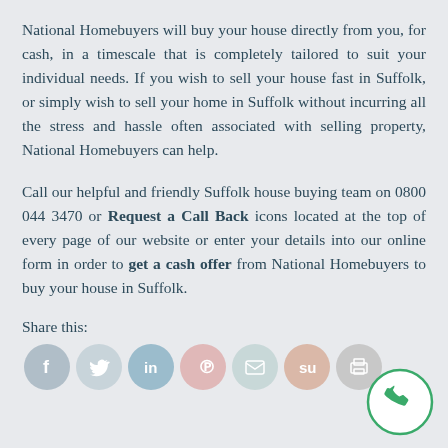National Homebuyers will buy your house directly from you, for cash, in a timescale that is completely tailored to suit your individual needs. If you wish to sell your house fast in Suffolk, or simply wish to sell your home in Suffolk without incurring all the stress and hassle often associated with selling property, National Homebuyers can help.
Call our helpful and friendly Suffolk house buying team on 0800 044 3470 or Request a Call Back icons located at the top of every page of our website or enter your details into our online form in order to get a cash offer from National Homebuyers to buy your house in Suffolk.
Share this:
[Figure (infographic): Social media sharing icons: Facebook, Twitter, LinkedIn, Pinterest, Email, StumbleUpon, Print]
[Figure (infographic): Green phone call-back button circle icon in bottom right corner]